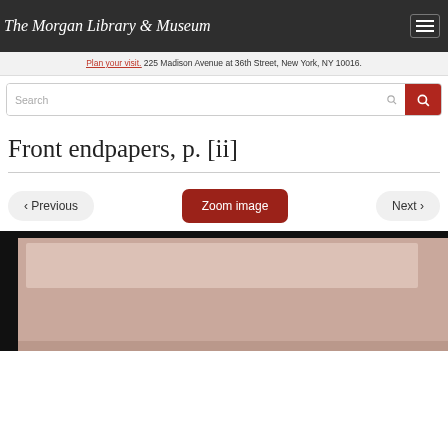The Morgan Library & Museum
Plan your visit. 225 Madison Avenue at 36th Street, New York, NY 10016.
Front endpapers, p. [ii]
‹ Previous  Zoom image  Next ›
[Figure (photo): Partial view of a manuscript or book page with dark border framing, showing endpaper with pinkish/cream coloring]